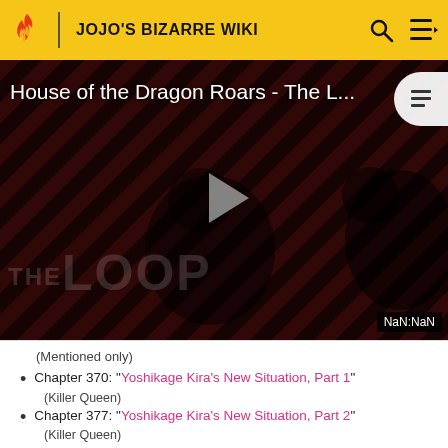JOJO'S BIZARRE WIKI
[Figure (screenshot): Video player thumbnail showing 'House of the Dragon Roars - The L...' with a play button, striped red and black background, two figures visible, 'THE LOOP' watermark, and NaN:NaN timestamp badge]
(Mentioned only)
Chapter 370: "Yoshikage Kira's New Situation, Part 1"
(Killer Queen)
Chapter 377: "Yoshikage Kira's New Situation, Part 2"
(Killer Queen)
Chapter 394: "The Cat Likes Yoshikage Kira, Part 3" (Killer Queen)